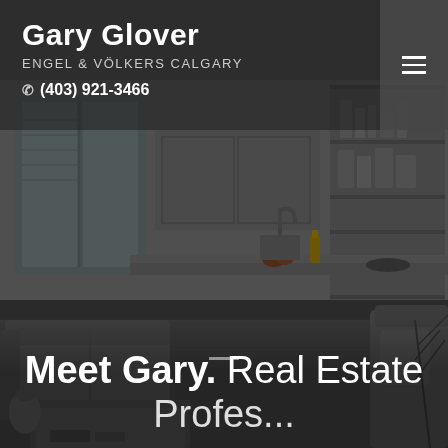[Figure (photo): A dimly-lit interior photo of a modern apartment/home showing a living room with grey sofas, a coffee table, and an open-plan kitchen with shelving in the background. The image has a dark overlay.]
Gary Glover
ENGEL & VÖLKERS CALGARY
(403) 921-3466
Meet Gary. Real Estate Profes...